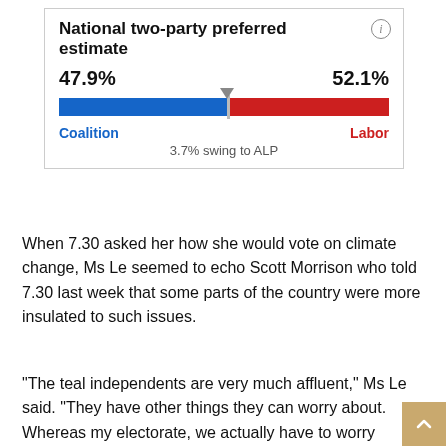[Figure (infographic): National two-party preferred estimate bar chart showing Coalition 47.9% vs Labor 52.1% with 3.7% swing to ALP]
When 7.30 asked her how she would vote on climate change, Ms Le seemed to echo Scott Morrison who told 7.30 last week that some parts of the country were more insulated to such issues.
“The teal independents are very much affluent,” Ms Le said. “They have other things they can worry about. Whereas my electorate, we actually have to worry about food on the table.